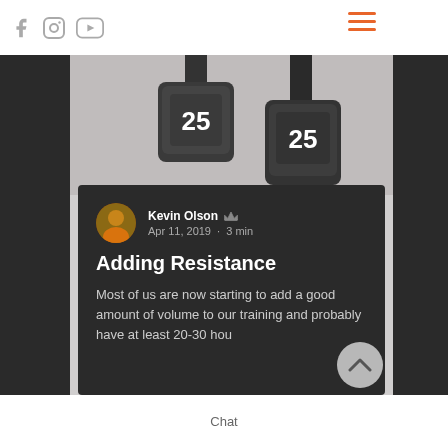[Figure (screenshot): Screenshot of a fitness/sports website showing social media icons (Facebook, Instagram, YouTube) in a top white bar, dark sidebar columns, a hero image of two 25-pound dumbbells on a gray background, an article card with author Kevin Olson, date Apr 11 2019, 3 min read, title 'Adding Resistance', and excerpt text. A back-to-top chevron button is visible. A hamburger menu with orange lines is in the top-right. A Chat label is visible in the bottom footer bar.]
Kevin Olson
Apr 11, 2019  ·  3 min
Adding Resistance
Most of us are now starting to add a good amount of volume to our training and probably have at least 20-30 hou
Chat